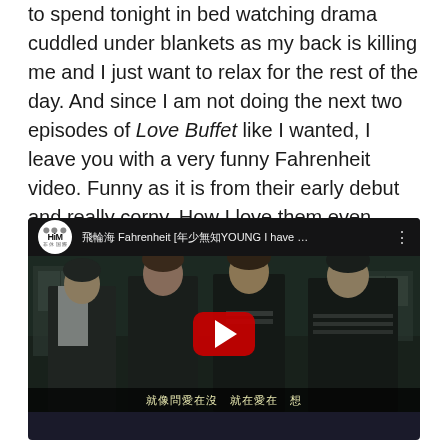to spend tonight in bed watching drama cuddled under blankets as my back is killing me and I just want to relax for the rest of the day. And since I am not doing the next two episodes of Love Buffet like I wanted, I leave you with a very funny Fahrenheit video. Funny as it is from their early debut and really corny. How I love them even though they really aren't the most skilled group in the world.
[Figure (screenshot): Embedded YouTube video player showing a music video by Fahrenheit (飛輪海), with HiM logo in the top left, video title partially shown, four young Asian men in dark clothing as the thumbnail, a red YouTube play button overlay in the center, and Chinese subtitle text at the bottom of the video frame.]